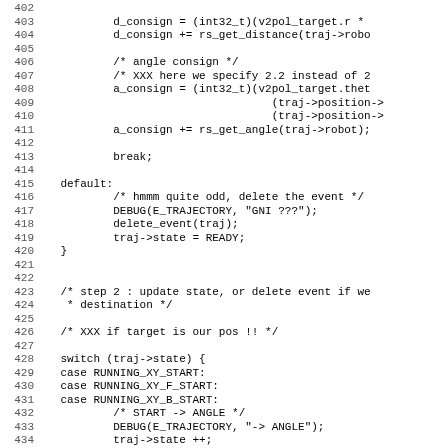Source code listing, lines 402-434, showing C code for trajectory control logic including distance/angle consign calculations, a default case with DEBUG and delete_event calls, and a switch statement for RUNNING_XY states.